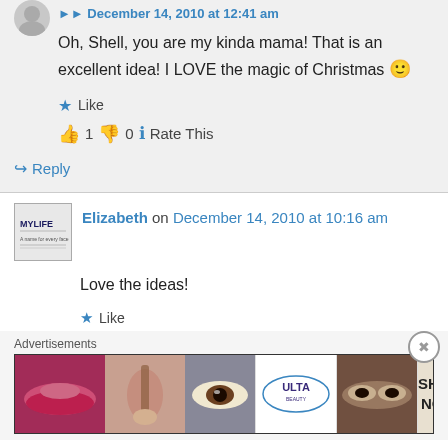Oh, Shell, you are my kinda mama! That is an excellent idea! I LOVE the magic of Christmas 🙂
Like
👍 1 👎 0 ℹ Rate This
↳ Reply
Elizabeth on December 14, 2010 at 10:16 am
Love the ideas!
Like
Advertisements
[Figure (photo): Ulta beauty advertisement banner showing makeup images and SHOP NOW text]